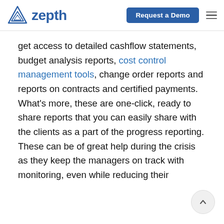zepth | Request a Demo
get access to detailed cashflow statements, budget analysis reports, cost control management tools, change order reports and reports on contracts and certified payments. What’s more, these are one-click, ready to share reports that you can easily share with the clients as a part of the progress reporting. These can be of great help during the crisis as they keep the managers on track with monitoring, even while reducing their